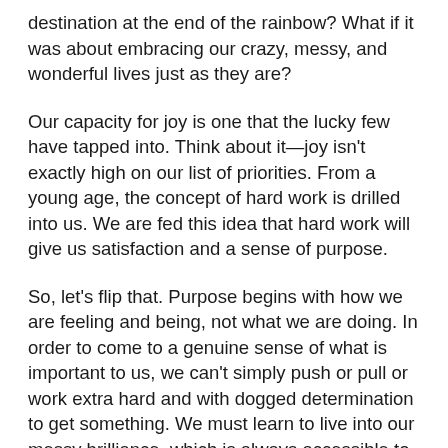destination at the end of the rainbow? What if it was about embracing our crazy, messy, and wonderful lives just as they are?
Our capacity for joy is one that the lucky few have tapped into. Think about it—joy isn't exactly high on our list of priorities. From a young age, the concept of hard work is drilled into us. We are fed this idea that hard work will give us satisfaction and a sense of purpose.
So, let's flip that. Purpose begins with how we are feeling and being, not what we are doing. In order to come to a genuine sense of what is important to us, we can't simply push or pull or work extra hard and with dogged determination to get something. We must learn to live into our messy brilliance, which is always accessible to us, right where we stand.
The first three days of this week are foundational days for our course, meaning they'll be important